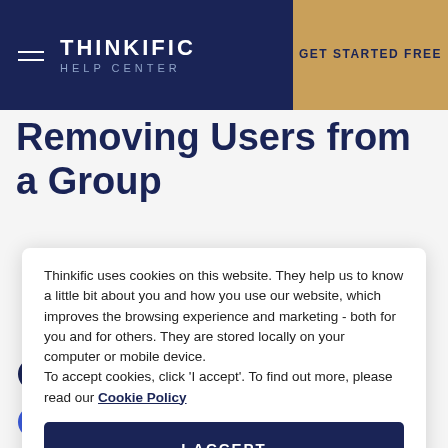THINKIFIC HELP CENTER | GET STARTED FREE
Removing Users from a Group
Thinkific uses cookies on this website. They help us to know a little bit about you and how you use our website, which improves the browsing experience and marketing - both for you and for others. They are stored locally on your computer or mobile device.
To accept cookies, click 'I accept'. To find out more, please read our Cookie Policy
I ACCEPT
4  Locate your desired user
5  Select the checkbox to the left of the user